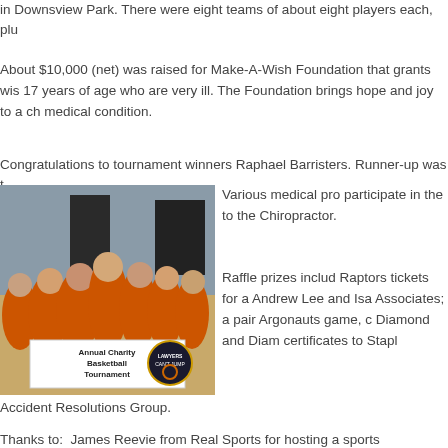in Downsview Park. There were eight teams of about eight players each, plu
About $10,000 (net) was raised for Make-A-Wish Foundation that grants wis 17 years of age who are very ill. The Foundation brings hope and joy to a ch medical condition.
Congratulations to tournament winners Raphael Barristers. Runner-up was t
[Figure (photo): Group photo of basketball team in orange shirts holding a banner that reads 'Annual Charity Basketball Tournament' with the 'Lawyers Can't Jump' logo]
Various medical pro participate in the to the Chiropractor.
Raffle prizes includ Raptors tickets for a Andrew Lee and Isa Associates; a pair Argonauts game, c Diamond and Diam certificates to Stapl
Accident Resolutions Group.
Thanks to: James Reevie from Real Sports for hosting a sports memorabili